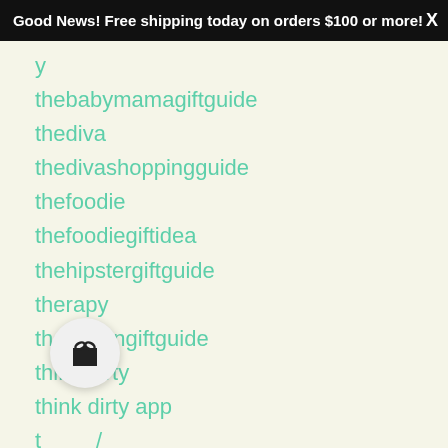Good News! Free shipping today on orders $100 or more! X
thebabymamagiftguide
thediva
thedivashoppingguide
thefoodie
thefoodiegiftidea
thehipstergiftguide
therapy
thevegangiftguide
think dirty
think dirty app
thinkdirty
[Figure (illustration): Gift box icon in a circular badge]